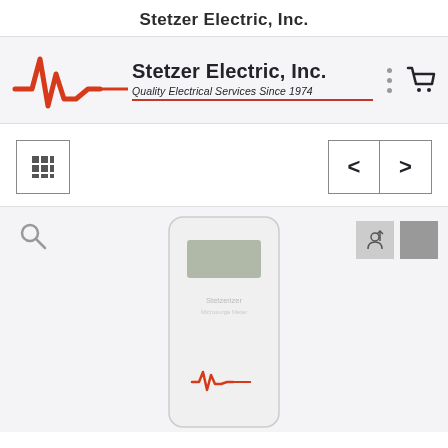Stetzer Electric, Inc.
[Figure (logo): Stetzer Electric, Inc. logo with red ECG/waveform graphic, company name in bold, tagline 'Quality Electrical Services Since 1974', three grey dots menu icon, and black shopping cart icon]
[Figure (screenshot): Website navigation controls: a grid/menu button on the left with a 3x3 grid icon, and left/right arrow navigation buttons on the right]
[Figure (photo): Product image area showing a white handheld electronic device (meter/monitor) with an LCD screen and a red waveform logo on the front. Magnify icon on the upper left, two thumbnail icons on the upper right.]